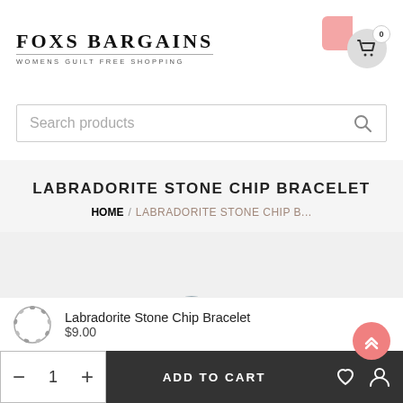FOXS BARGAINS — WOMENS GUILT FREE SHOPPING
Search products
LABRADORITE STONE CHIP BRACELET
HOME / LABRADORITE STONE CHIP B...
[Figure (photo): Labradorite stone chip bracelet, grey-blue semi-precious stones arranged in a curved arc shape]
Labradorite Stone Chip Bracelet
$9.00
− 1 + | ADD TO CART